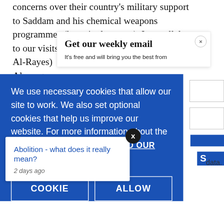concerns over their country's military support to Saddam and his chemical weapons programmes (knowingly or not). In parallel to our visits [Al-Rayes] [Almangu...
Get our weekly email
It's free and will bring you the best from
We use necessary cookies that allow our site to work. We also set optional cookies that help us improve our website. For more information about the types of cookies we use. READ OUR COOKIES POLICY HERE
COOKIE
ALLOW
Abolition - what does it really mean?
2 days ago
data.
Clearly, th